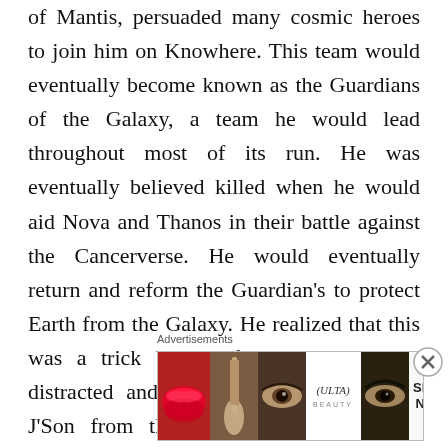of Mantis, persuaded many cosmic heroes to join him on Knowhere. This team would eventually become known as the Guardians of the Galaxy, a team he would lead throughout most of its run. He was eventually believed killed when he would aid Nova and Thanos in their battle against the Cancerverse. He would eventually return and reform the Guardian's to protect Earth from the Galaxy. He realized that this was a trick by his father to keep him distracted and would eventually dethrone J'Son from the throne of Spartax. The Guardian's would eventually team up with the time
[Figure (other): Advertisement banner for ULTA beauty with makeup imagery including lips, brush, eye, ULTA logo, eyes, and SHOP NOW text. Close button overlay on right side.]